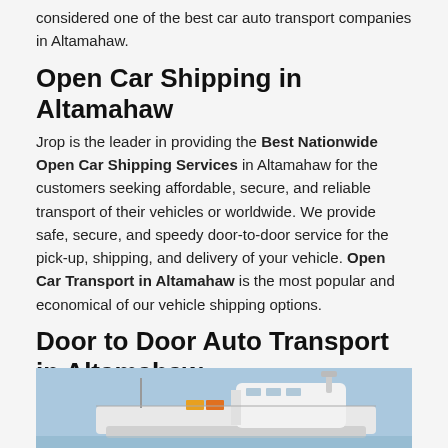considered one of the best car auto transport companies in Altamahaw.
Open Car Shipping in Altamahaw
Jrop is the leader in providing the Best Nationwide Open Car Shipping Services in Altamahaw for the customers seeking affordable, secure, and reliable transport of their vehicles or worldwide. We provide safe, secure, and speedy door-to-door service for the pick-up, shipping, and delivery of your vehicle. Open Car Transport in Altamahaw is the most popular and economical of our vehicle shipping options.
Door to Door Auto Transport in Altamahaw
[Figure (photo): A large white car carrier ship at port with a blue sky background]